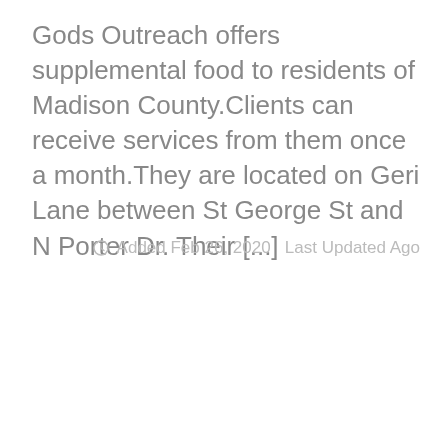Gods Outreach offers supplemental food to residents of Madison County.Clients can receive services from them once a month.They are located on Geri Lane between St George St and N Porter Dr. Their [...]
Added Feb 26, 2020   Last Updated Ago